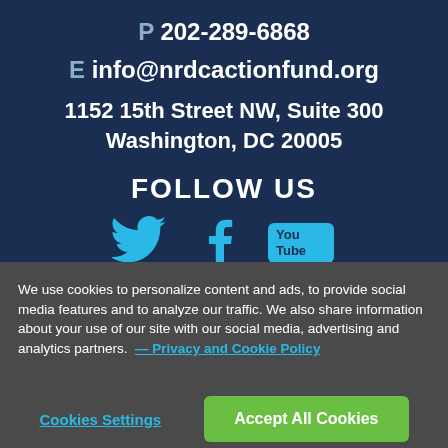P 202-289-6868
E info@nrdcactionfund.org
1152 15th Street NW, Suite 300
Washington, DC 20005
FOLLOW US
[Figure (illustration): Social media icons: Twitter bird icon, Facebook 'f' icon, and YouTube logo icon, all in cyan/teal color]
We use cookies to personalize content and ads, to provide social media features and to analyze our traffic. We also share information about your use of our site with our social media, advertising and analytics partners. — Privacy and Cookie Policy
Cookies Settings
Accept All Cookies